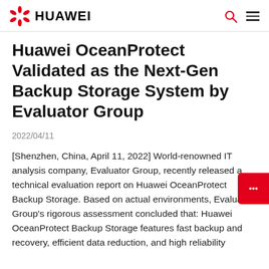HUAWEI
Huawei OceanProtect Validated as the Next-Gen Backup Storage System by Evaluator Group
2022/04/11
[Shenzhen, China, April 11, 2022] World-renowned IT analysis company, Evaluator Group, recently released a technical evaluation report on Huawei OceanProtect Backup Storage. Based on actual environments, Evaluator Group's rigorous assessment concluded that: Huawei OceanProtect Backup Storage features fast backup and recovery, efficient data reduction, and high reliability